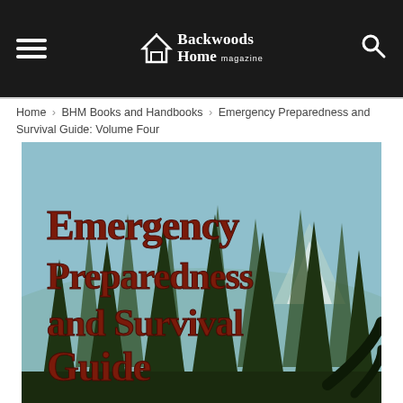Backwoods Home magazine
Home › BHM Books and Handbooks › Emergency Preparedness and Survival Guide: Volume Four
[Figure (illustration): Book cover of Emergency Preparedness and Survival Guide showing tall pine trees with a light blue sky background. Large dark red bold text reads 'Emergency Preparedness and Survival Guide' overlaid on the forest scene.]